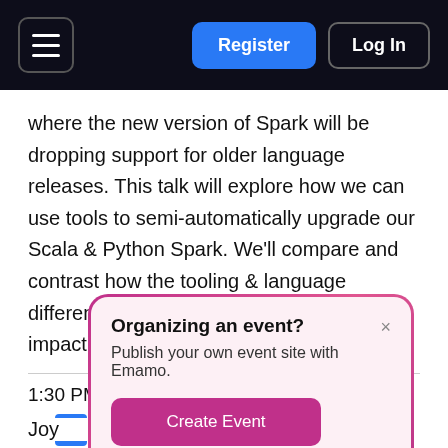Register | Log In
where the new version of Spark will be dropping support for older language releases. This talk will explore how we can use tools to semi-automatically upgrade our Scala & Python Spark. We'll compare and contrast how the tooling & language differences between Scala and Python impact these tools.
1:30 PM - 2:00 PM PST
Organizing an event? Publish your own event site with Emamo. Create Event
Joy